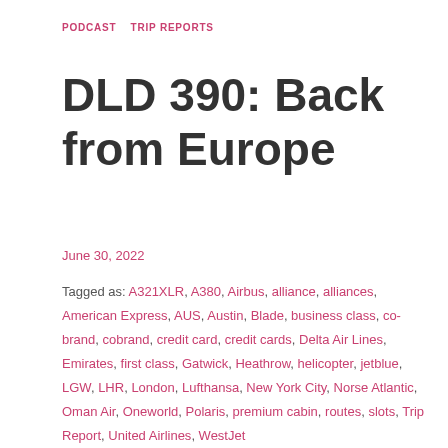PODCAST   TRIP REPORTS
DLD 390: Back from Europe
June 30, 2022
Tagged as: A321XLR, A380, Airbus, alliance, alliances, American Express, AUS, Austin, Blade, business class, co-brand, cobrand, credit card, credit cards, Delta Air Lines, Emirates, first class, Gatwick, Heathrow, helicopter, jetblue, LGW, LHR, London, Lufthansa, New York City, Norse Atlantic, Oman Air, Oneworld, Polaris, premium cabin, routes, slots, Trip Report, United Airlines, WestJet